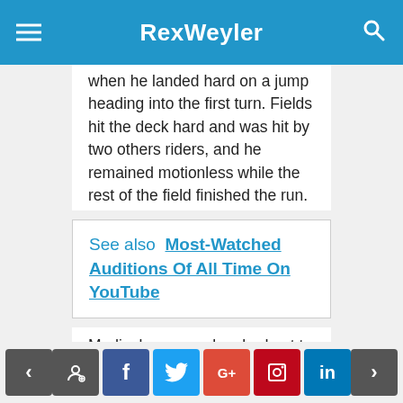RexWeyler
when he landed hard on a jump heading into the first turn. Fields hit the deck hard and was hit by two others riders, and he remained motionless while the rest of the field finished the run.
See also  Most-Watched Auditions Of All Time On YouTube
Medical personnel rushed out to attend to Fields, who was eventually loaded onto a stretcher and taken to an ambulance.
Australian cyclist Saya Sakakibara also had to be removed on a stretcher following a crash Saturday.
< comment facebook twitter google+ pinterest linkedin >